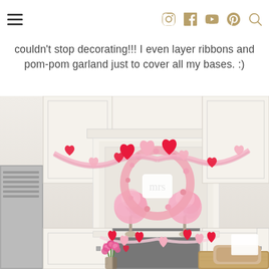Navigation header with hamburger menu and social icons (Instagram, Facebook, YouTube, Pinterest, Search)
couldn't stop decorating!!!  I even layer ribbons and pom-pom garland just to cover all my bases. :)
[Figure (photo): Kitchen with white cabinets and a range hood decorated with Valentine's Day decor including a heart wreath with pink pom-poms, felt heart garlands in red and pink, and fresh pink flowers on the counter.]